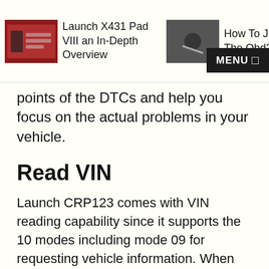Launch X431 Pad VIII an In-Depth Overview | How To Jump The Obd2 Port | MENU
points of the DTCs and help you focus on the actual problems in your vehicle.
Read VIN
Launch CRP123 comes with VIN reading capability since it supports the 10 modes including mode 09 for requesting vehicle information. When you start diagnosing one vehicle it could take a long time especially if you want to go comprehensively. As Launch CRP123 can read the VIN, it would help you with the recalibration of the corresponding components.